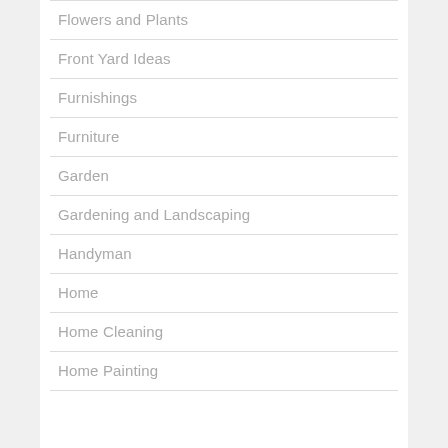Flowers and Plants
Front Yard Ideas
Furnishings
Furniture
Garden
Gardening and Landscaping
Handyman
Home
Home Cleaning
Home Painting